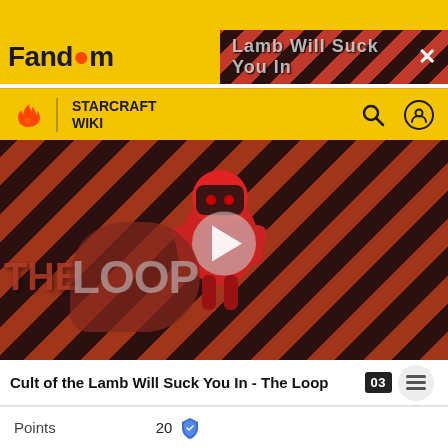Fandom | STARCRAFT WIKI
[Figure (screenshot): Video thumbnail showing 'The Loop' Fandom video featuring Cult of the Lamb character on diagonal stripe background with play button overlay]
Cult of the Lamb Will Suck You In - The Loop
Solo Zen Master
Points   20